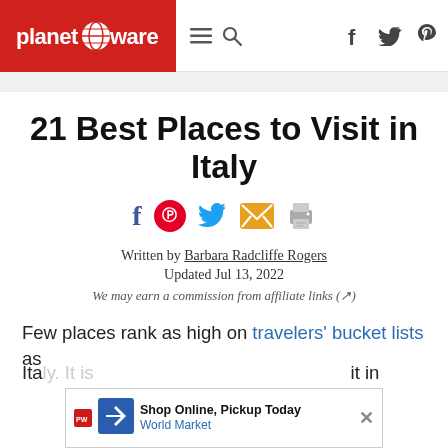planetware
21 Best Places to Visit in Italy
[Figure (other): Social sharing icons: Facebook, Pinterest, Twitter, Email, Print]
Written by Barbara Radcliffe Rogers
Updated Jul 13, 2022
We may earn a commission from affiliate links (↗)
Few places rank as high on travelers' bucket lists as Italy. It is it in
[Figure (other): Advertisement banner: Shop Online, Pickup Today - World Market with directional arrow icon and close button]